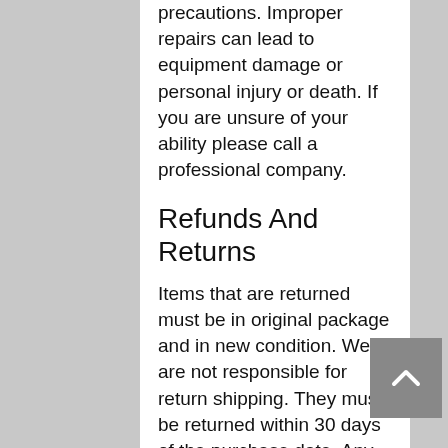precautions. Improper repairs can lead to equipment damage or personal injury or death. If you are unsure of your ability please call a professional company.
Refunds And Returns
Items that are returned must be in original package and in new condition. We are not responsible for return shipping. They must be returned within 30 days of the purchase date. Any returns after 30 days will not be accepted. Refunds takes 4-7 days to be processed and appear back on the card used. A 25% restocking charge will be deducted from the original purchase price. If an item has been installed or altered in